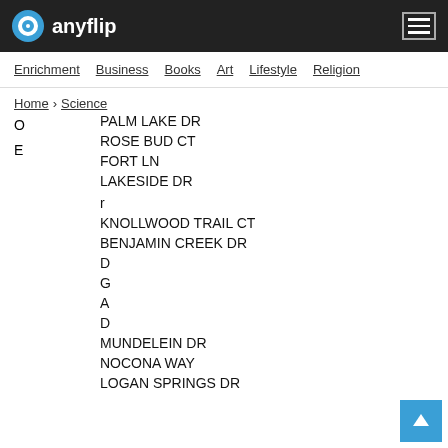anyflip
Enrichment  Business  Books  Art  Lifestyle  Religion
Home > Science
O
E
PALM LAKE DR
ROSE BUD CT
FORT LN
LAKESIDE DR
r
KNOLLWOOD TRAIL CT
BENJAMIN CREEK DR
D
G
A
D
MUNDELEIN DR
NOCONA WAY
LOGAN SPRINGS DR